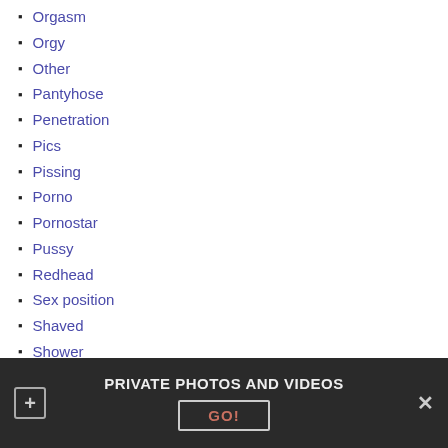Orgasm
Orgy
Other
Pantyhose
Penetration
Pics
Pissing
Porno
Pornostar
Pussy
Redhead
Sex position
Shaved
Shower
Slut
PRIVATE PHOTOS AND VIDEOS  GO!